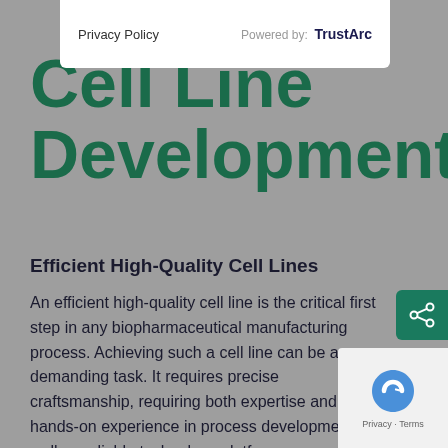Privacy Policy    Powered by: TrustArc
Cell Line Development
Efficient High-Quality Cell Lines
An efficient high-quality cell line is the critical first step in any biopharmaceutical manufacturing process. Achieving such a cell line can be a demanding task. It requires precise craftsmanship, requiring both expertise and hands-on experience in process development as well as reliable technology platforms.